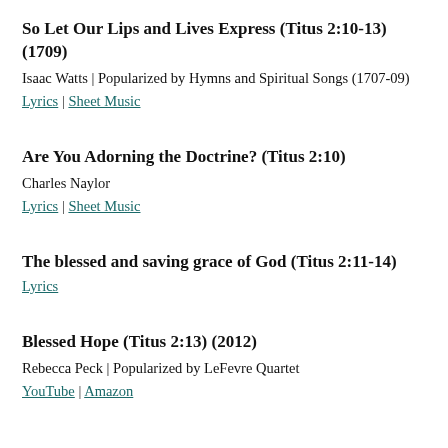So Let Our Lips and Lives Express (Titus 2:10-13) (1709)
Isaac Watts | Popularized by Hymns and Spiritual Songs (1707-09)
Lyrics | Sheet Music
Are You Adorning the Doctrine? (Titus 2:10)
Charles Naylor
Lyrics | Sheet Music
The blessed and saving grace of God (Titus 2:11-14)
Lyrics
Blessed Hope (Titus 2:13) (2012)
Rebecca Peck | Popularized by LeFevre Quartet
YouTube | Amazon